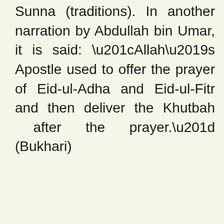Sunna (traditions). In another narration by Abdullah bin Umar, it is said: “Allah’s Apostle used to offer the prayer of Eid-ul-Adha and Eid-ul-Fitr and then deliver the Khutbah after the prayer.” (Bukhari)